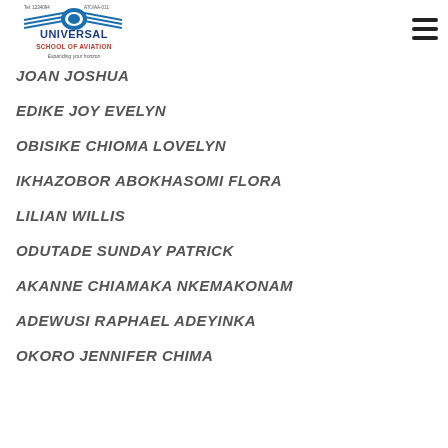[Figure (logo): Universal School of Aviation logo with airplane graphic and text]
JOAN JOSHUA
EDIKE JOY EVELYN
OBISIKE CHIOMA LOVELYN
IKHAZOBOR ABOKHASOMI FLORA
LILIAN WILLIS
ODUTADE SUNDAY PATRICK
AKANNE CHIAMAKA NKEMAKONAM
ADEWUSI RAPHAEL ADEYINKA
OKORO JENNIFER CHIMA